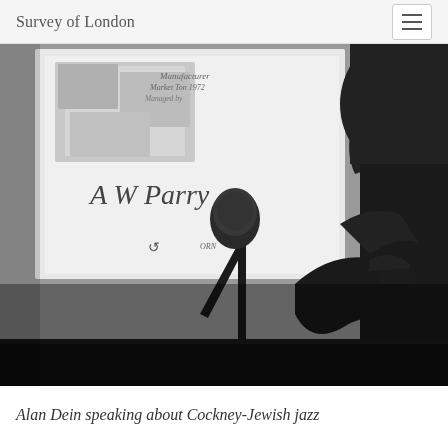Survey of London
[Figure (photo): Black and white photograph of a person (silhouette) speaking at a microphone, with a projected slide showing 'A W Parry' visible in the background.]
Alan Dein speaking about Cockney-Jewish jazz